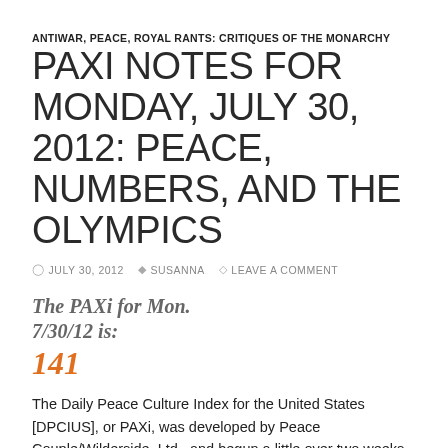ANTIWAR, PEACE, ROYAL RANTS: CRITIQUES OF THE MONARCHY
PAXI NOTES FOR MONDAY, JULY 30, 2012: PEACE, NUMBERS, AND THE OLYMPICS
JULY 30, 2012   SUSANNA   LEAVE A COMMENT
The PAXi for Mon. 7/30/12 is:
141
The Daily Peace Culture Index for the United States [DPCIUS], or PAXi, was developed by Peace Couple/Wilderside, Ltd., and begun a little over two weeks ago, on Sunday, July 15, 2012.